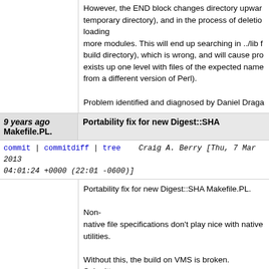However, the END block changes directory upward (out of the temporary directory), and in the process of deletion loading more modules. This will end up searching in ../lib from the build directory), which is wrong, and will cause problems if ../lib exists up one level with files of the expected name (but possibly from a different version of Perl).

Problem identified and diagnosed by Daniel Draga
9 years ago Makefile.PL. Portability fix for new Digest::SHA
commit | commitdiff | tree   Craig A. Berry [Thu, 7 Mar 2013 04:01:24 +0000 (22:01 -0600)]
Portability fix for new Digest::SHA Makefile.PL.

Non-native file specifications don't play nice with native utilities.

Without this, the build on VMS is broken. Submitte

https://rt.cpan.org/Ticket/Display.html?id=83800
9 years ago   Fix POD formatting error